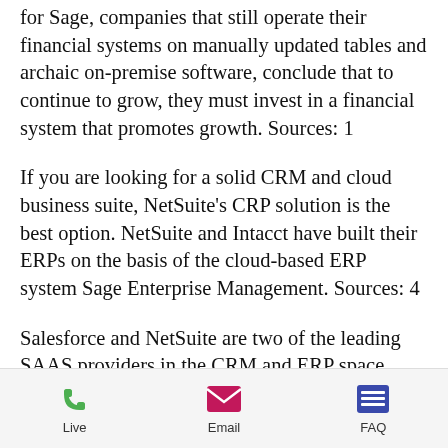for Sage, companies that still operate their financial systems on manually updated tables and archaic on-premise software, conclude that to continue to grow, they must invest in a financial system that promotes growth. Sources: 1
If you are looking for a solid CRM and cloud business suite, NetSuite's CRP solution is the best option. NetSuite and Intacct have built their ERPs on the basis of the cloud-based ERP system Sage Enterprise Management. Sources: 4
Salesforce and NetSuite are two of the leading SAAS providers in the CRM and ERP space. Although Marketo does not offer integrated CRM modules, its product is based
Live   Email   FAQ